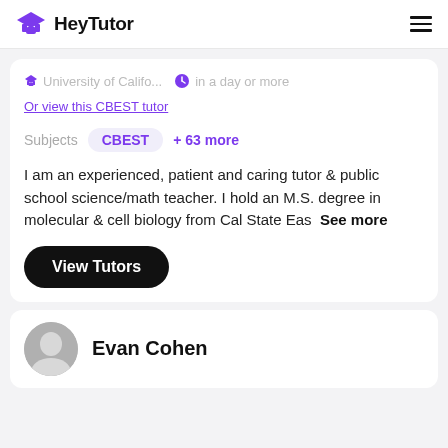HeyTutor
University of Califo...   in a day or more
Or view this CBEST tutor
Subjects   CBEST   + 63 more
I am an experienced, patient and caring tutor & public school science/math teacher. I hold an M.S. degree in molecular & cell biology from Cal State Eas  See more
View Tutors
Evan Cohen